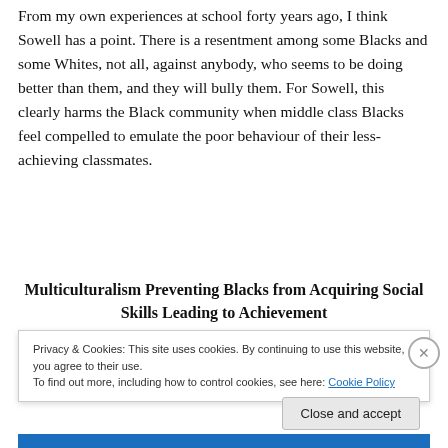From my own experiences at school forty years ago, I think Sowell has a point. There is a resentment among some Blacks and some Whites, not all, against anybody, who seems to be doing better than them, and they will bully them. For Sowell, this clearly harms the Black community when middle class Blacks feel compelled to emulate the poor behaviour of their less-achieving classmates.
Multiculturalism Preventing Blacks from Acquiring Social Skills Leading to Achievement
Privacy & Cookies: This site uses cookies. By continuing to use this website, you agree to their use.
To find out more, including how to control cookies, see here: Cookie Policy